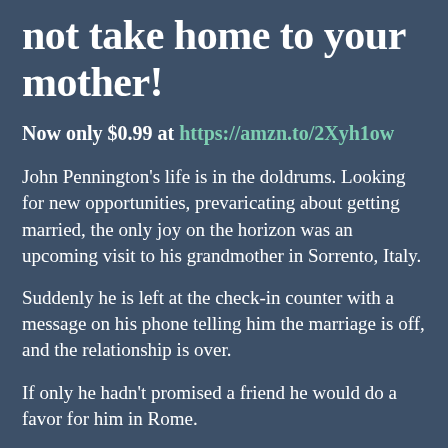not take home to your mother!
Now only $0.99 at https://amzn.to/2Xyh1ow
John Pennington's life is in the doldrums. Looking for new opportunities, prevaricating about getting married, the only joy on the horizon was an upcoming visit to his grandmother in Sorrento, Italy.
Suddenly he is left at the check-in counter with a message on his phone telling him the marriage is off, and the relationship is over.
If only he hadn't promised a friend he would do a favor for him in Rome.